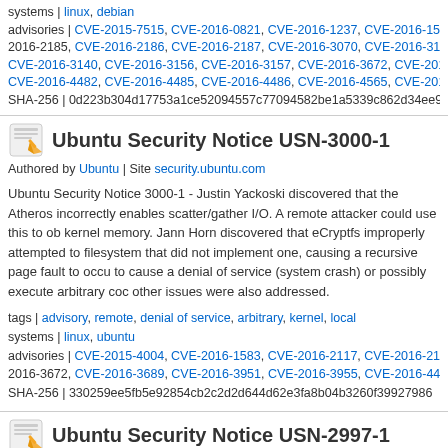systems | linux, debian
advisories | CVE-2015-7515, CVE-2016-0821, CVE-2016-1237, CVE-2016-1583, CVE-2016-2185, CVE-2016-2186, CVE-2016-2187, CVE-2016-3070, CVE-2016-3134, CVE-2016-3140, CVE-2016-3156, CVE-2016-3157, CVE-2016-3672, CVE-2016-3951, CVE-2016-4482, CVE-2016-4485, CVE-2016-4486, CVE-2016-4565, CVE-2016-4569
SHA-256 | 0d223b304d17753a1ce52094557c77094582be1a5339c862d34ee9...
Ubuntu Security Notice USN-3000-1
Authored by Ubuntu | Site security.ubuntu.com
Ubuntu Security Notice 3000-1 - Justin Yackoski discovered that the Atheros incorrectly enables scatter/gather I/O. A remote attacker could use this to ob kernel memory. Jann Horn discovered that eCryptfs improperly attempted to filesystem that did not implement one, causing a recursive page fault to occur to cause a denial of service (system crash) or possibly execute arbitrary code other issues were also addressed.
tags | advisory, remote, denial of service, arbitrary, kernel, local
systems | linux, ubuntu
advisories | CVE-2015-4004, CVE-2016-1583, CVE-2016-2117, CVE-2016-2187, CVE-2016-3672, CVE-2016-3689, CVE-2016-3951, CVE-2016-3955, CVE-2016-4485, CVE-2016-...
SHA-256 | 330259ee5fb5e92854cb2c2d2d644d62e3fa8b04b3260f39927986...
Ubuntu Security Notice USN-2997-1
Authored by Ubuntu | Site security.ubuntu.com